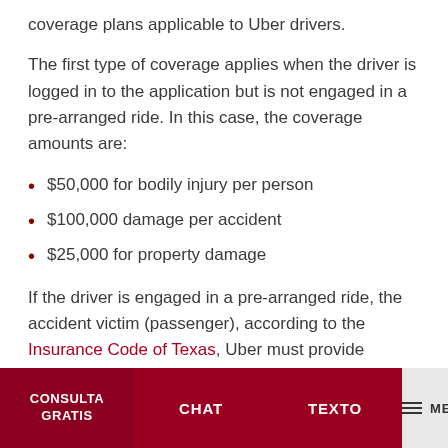coverage plans applicable to Uber drivers.
The first type of coverage applies when the driver is logged in to the application but is not engaged in a pre-arranged ride. In this case, the coverage amounts are:
$50,000 for bodily injury per person
$100,000 damage per accident
$25,000 for property damage
If the driver is engaged in a pre-arranged ride, the accident victim (passenger), according to the Insurance Code of Texas, Uber must provide coverage for bodily injury, property damage, or death up to the limit of $1,000,000
CONSULTA GRATIS | CHAT | TEXTO | MENU